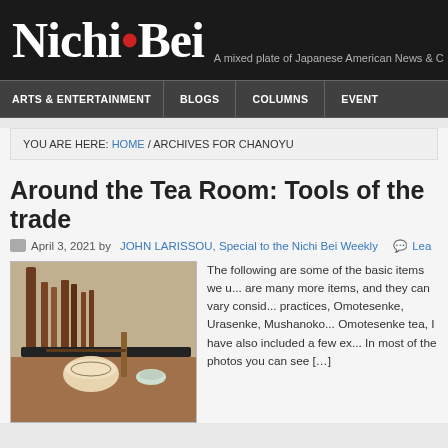Nichi Bei — A mixed plate of Japanese American News & C
ARTS & ENTERTAINMENT | BLOGS | COLUMNS | EVENTS
YOU ARE HERE: HOME / ARCHIVES FOR CHANOYU
Around the Tea Room: Tools of the trade
April 3, 2021 by JOHN LARISSOU, Special to the Nichi Bei Weekly   Lea
[Figure (photo): Tea room tools arranged on a wooden surface: tea bowls, whisk, and other tea ceremony implements]
The following are some of the basic items we u... are many more items, and they can vary consid... practices, Omotesenke, Urasenke, Mushanoko... Omotesenke tea, I have also included a few ex... In most of the photos you can see [...]